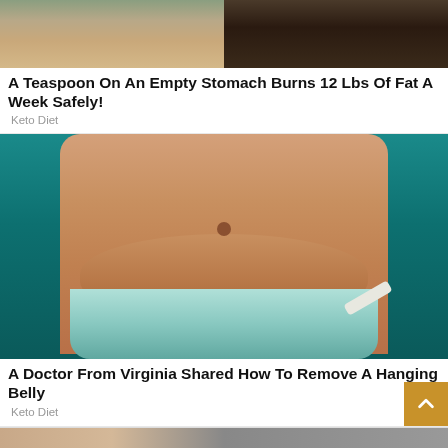[Figure (photo): Two photos side by side: a woman's face/shoulder on the left, a dark blurred background on the right.]
A Teaspoon On An Empty Stomach Burns 12 Lbs Of Fat A Week Safely!
Keto Diet
[Figure (photo): Close-up photo of a person's midsection wearing a light teal bikini bottom against a teal background, showing belly/abdominal area.]
A Doctor From Virginia Shared How To Remove A Hanging Belly
Keto Diet
[Figure (photo): Partial view of another article thumbnail at the very bottom of the page.]